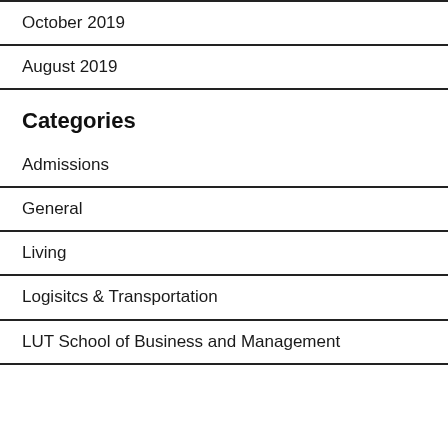October 2019
August 2019
Categories
Admissions
General
Living
Logisitcs & Transportation
LUT School of Business and Management